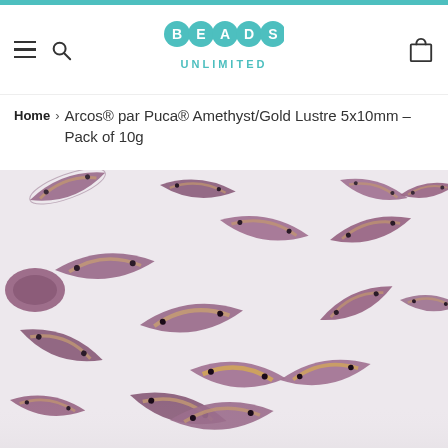Beads Unlimited — navigation header with hamburger menu, search icon, logo, and cart icon
Home > Arcos® par Puca® Amethyst/Gold Lustre 5x10mm - Pack of 10g
[Figure (photo): Close-up photograph of multiple crescent/arc-shaped Czech glass beads (Arcos par Puca) in amethyst purple with gold lustre finish, scattered on a white background. Each bead has two holes and shows a curved arc shape approximately 5x10mm.]